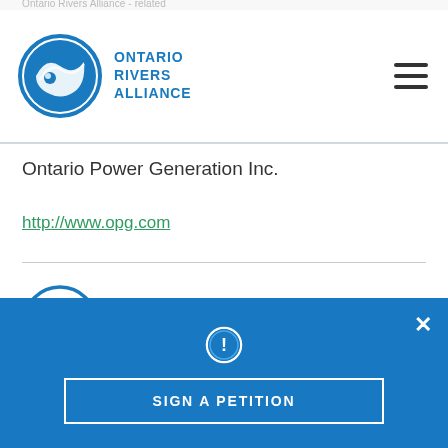Ontario Rivers Alliance
[Figure (logo): Ontario Rivers Alliance logo: blue circle with wave/canoe design]
Ontario Power Generation Inc.
http://www.opg.com
WHO WE ARE
[Figure (illustration): Partial blue circle icon visible at bottom of content area]
SIGN A PETITION